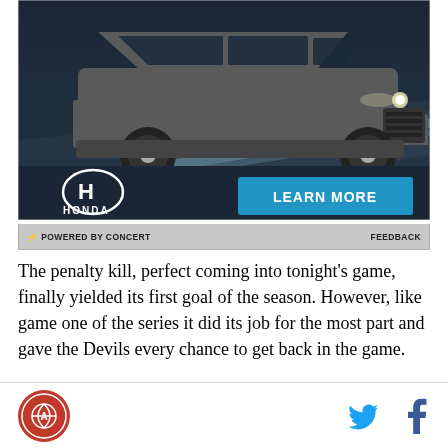[Figure (photo): Honda advertisement showing a dark grey Honda SUV (CR-V or HR-V) driving on a road at night/dusk. The ad includes the Honda H logo, HONDA wordmark, and a blue LEARN MORE button.]
⚡ POWERED BY CONCERT    FEEDBACK
The penalty kill, perfect coming into tonight's game, finally yielded its first goal of the season. However, like game one of the series it did its job for the most part and gave the Devils every chance to get back in the game.
[Figure (logo): Site logo circle (basketball-related) and social media icons for Twitter and Facebook]